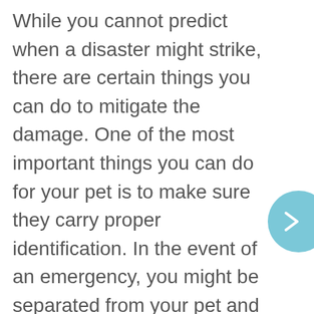While you cannot predict when a disaster might strike, there are certain things you can do to mitigate the damage. One of the most important things you can do for your pet is to make sure they carry proper identification. In the event of an emergency, you might be separated from your pet and only if he carries proper identification are you likely to be reunited with him. For larger pets, such as c and dogs, you should make sure they have a collar with an address and several phone numbers where you can be reached. You should also have your pet microchipped because, in the event of a disaster, your pet's